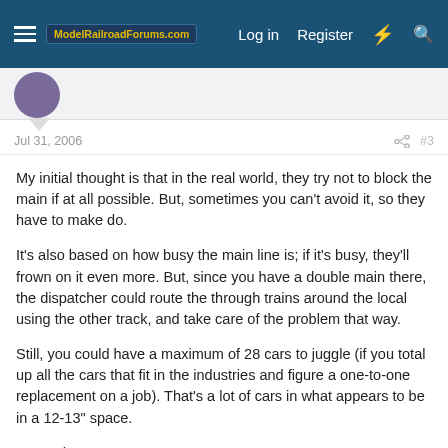ModelRailroadForums.com — Log in  Register
Jul 31, 2006  #3
My initial thought is that in the real world, they try not to block the main if at all possible. But, sometimes you can't avoid it, so they have to make do.

It's also based on how busy the main line is; if it's busy, they'll frown on it even more. But, since you have a double main there, the dispatcher could route the through trains around the local using the other track, and take care of the problem that way.

Still, you could have a maximum of 28 cars to juggle (if you total up all the cars that fit in the industries and figure a one-to-one replacement on a job). That's a lot of cars in what appears to be in a 12-13" space.

Kennedy